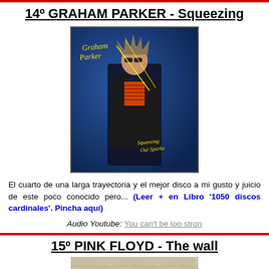14º GRAHAM PARKER - Squeezing
[Figure (photo): Album cover of Graham Parker - Squeezing Out Sparks. A man in sunglasses and black jacket stands against a blue background with yellow neon text 'Graham Parker' and 'Squeezing Out Sparks'.]
El cuarto de una larga trayectoria y el mejor disco a mi gusto y juicio de este poco conocido pero... (Leer + en Libro '1050 discos cardinales'. Pincha aquí)
Audio Youtube: You can't be too stron
15º PINK FLOYD - The wall
[Figure (photo): Partial album cover of Pink Floyd - The Wall showing a brick wall pattern.]